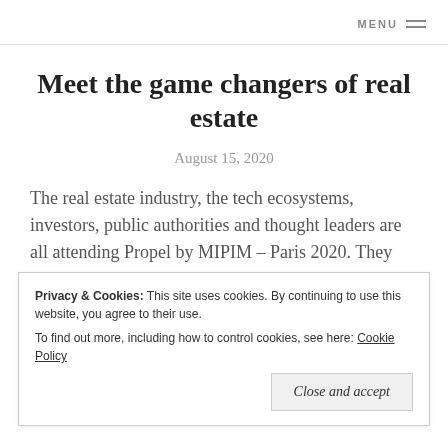MENU
Meet the game changers of real estate
August 15, 2020
The real estate industry, the tech ecosystems, investors, public authorities and thought leaders are all attending Propel by MIPIM – Paris 2020. They are taking part to develop new business opportunities, discover new projects
Privacy & Cookies: This site uses cookies. By continuing to use this website, you agree to their use.
To find out more, including how to control cookies, see here: Cookie Policy
Close and accept